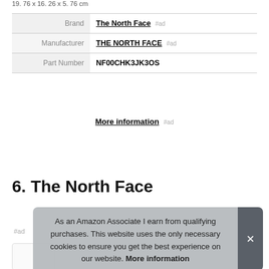19.76 x 16.26 x 5.76 cm
| Brand | The North Face #ad |
| Manufacturer | THE NORTH FACE #ad |
| Part Number | NF00CHK3JK3OS |
More information #ad
6. The North Face
#ad
As an Amazon Associate I earn from qualifying purchases. This website uses the only necessary cookies to ensure you get the best experience on our website. More information